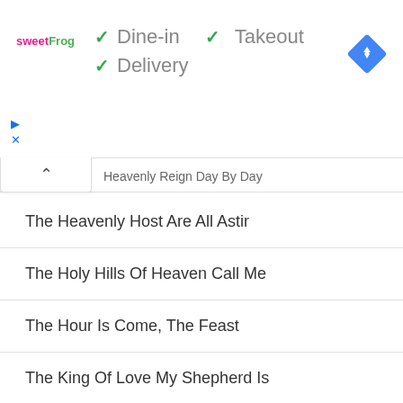[Figure (logo): sweetFrog logo in pink and green text]
✓ Dine-in  ✓ Takeout
✓ Delivery
[Figure (other): Blue diamond navigation/directions icon]
Heavenly Reign Day By Day (partial, collapsed)
The Heavenly Host Are All Astir
The Holy Hills Of Heaven Call Me
The Hour Is Come, The Feast
The King Of Love My Shepherd Is
The Last Move For Me
The Last Song I Sing Be For Jesus
The Light Of The Day Of Rest